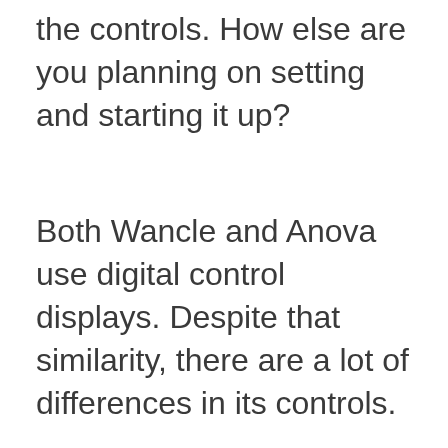Probably the most important feature is the controls. How else are you planning on setting and starting it up?
Both Wancle and Anova use digital control displays. Despite that similarity, there are a lot of differences in its controls.